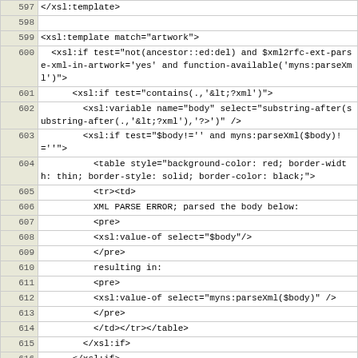[Figure (screenshot): Source code listing showing XSL template lines 597-622, with line numbers in a tan/olive left column and code in a white right column using monospace font.]